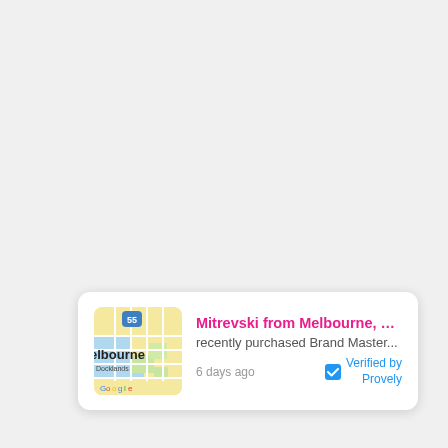[Figure (map): Google Maps thumbnail showing Melbourne Docklands area with yellow/green streets and blue water, with a blue highway shield showing 55]
Mitrevski from Melbourne, Vic... recently purchased Brand Master... 6 days ago  Verified by Provely